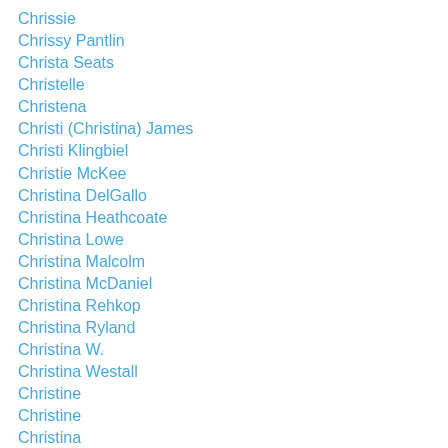Chrissie
Chrissy Pantlin
Christa Seats
Christelle
Christena
Christi (Christina) James
Christi Klingbiel
Christie McKee
Christina DelGallo
Christina Heathcoate
Christina Lowe
Christina Malcolm
Christina McDaniel
Christina Rehkop
Christina Ryland
Christina W.
Christina Westall
Christine
Christine
Christina